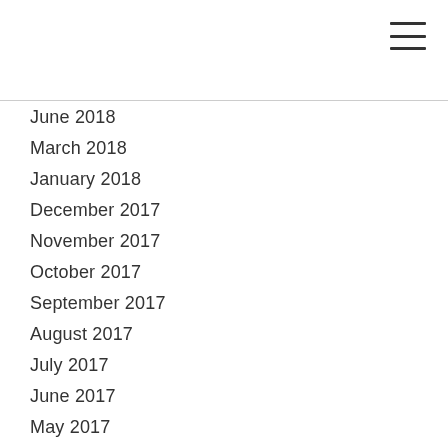June 2018
March 2018
January 2018
December 2017
November 2017
October 2017
September 2017
August 2017
July 2017
June 2017
May 2017
March 2017
February 2017
January 2017
November 2016
October 2016
September 2016